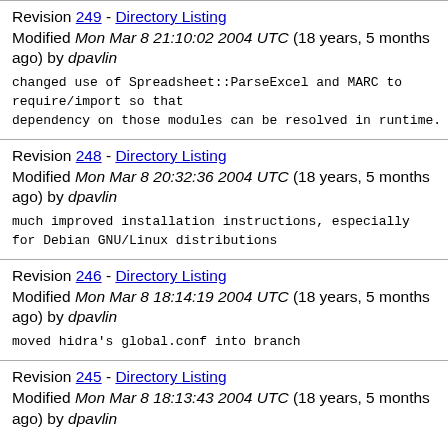Revision 249 - Directory Listing
Modified Mon Mar 8 21:10:02 2004 UTC (18 years, 5 months ago) by dpavlin
changed use of Spreadsheet::ParseExcel and MARC to require/import so that
dependency on those modules can be resolved in runtime.
Revision 248 - Directory Listing
Modified Mon Mar 8 20:32:36 2004 UTC (18 years, 5 months ago) by dpavlin
much improved installation instructions, especially
for Debian GNU/Linux distributions
Revision 246 - Directory Listing
Modified Mon Mar 8 18:14:19 2004 UTC (18 years, 5 months ago) by dpavlin
moved hidra's global.conf into branch
Revision 245 - Directory Listing
Modified Mon Mar 8 18:13:43 2004 UTC (18 years, 5 months ago) by dpavlin